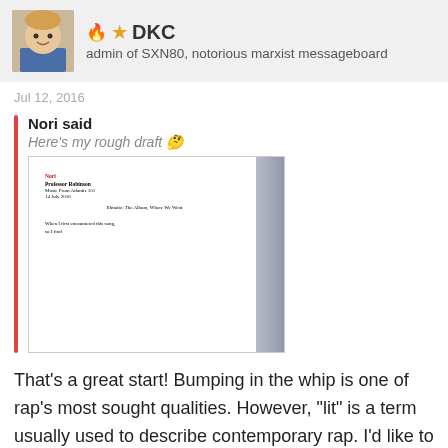DKC — admin of SXN80, notorious marxist messageboard
Jul 12, 2016
Nori said
Here's my rough draft 🤔
[Figure (screenshot): Screenshot of a document/paper rough draft with small text showing a formatted essay page]
That's a great start! Bumping in the whip is one of rap's most sought qualities. However, "lit" is a term usually used to describe contemporary rap. I'd like to see you justify its usage for a classic 90s album. Also, I might consider tweaking the rating a little big as you rewrite. I will have office hours later today if you need